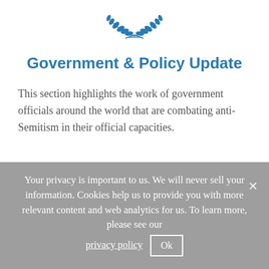[Figure (logo): Government emblem / laurel wreath logo in blue]
Government & Policy Update
This section highlights the work of government officials around the world that are combating anti-Semitism in their official capacities.
Your privacy is important to us. We will never sell your information. Cookies help us to provide you with more relevant content and web analytics for us. To learn more, please see our privacy policy Ok